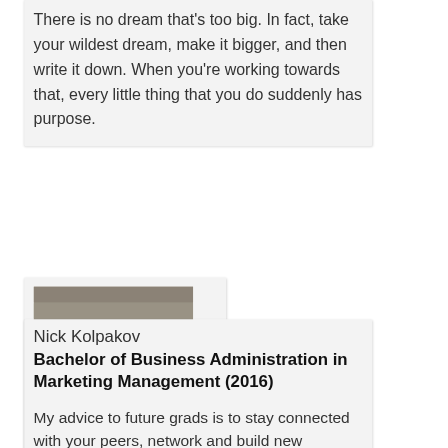There is no dream that's too big. In fact, take your wildest dream, make it bigger, and then write it down. When you're working towards that, every little thing that you do suddenly has purpose.
[Figure (photo): Black and white portrait photo of a young man in a dark shirt, smiling slightly, against a wooden background]
Nick Kolpakov
Bachelor of Business Administration in Marketing Management (2016)

My advice to future grads is to stay connected with your peers, network and build new relationships and focus your strengths on what makes you feel fulfilled